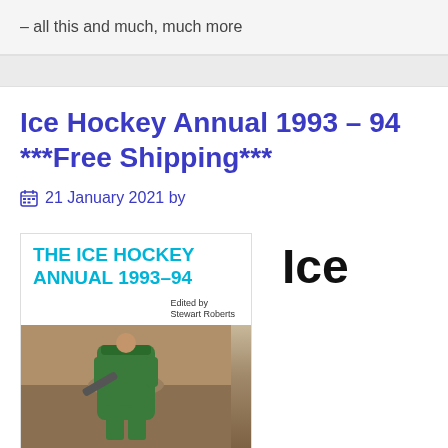– all this and much, much more
Ice Hockey Annual 1993 – 94 ***Free Shipping***
📅 21 January 2021 by
[Figure (photo): Book cover of The Ice Hockey Annual 1993-94, edited by Stewart Roberts, showing a hockey player in green and white uniform. Text 'ICE' appears to the right of the book cover.]